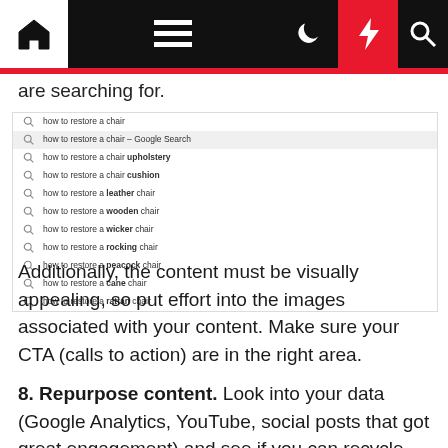Navigation bar with home, menu, moon, lightning, search icons
are searching for.
[Figure (screenshot): Google search autocomplete suggestions for 'how to restore a chair' showing multiple variations: how to restore a chair, how to restore a chair - Google Search (highlighted), how to restore a chair upholstery, how to restore a chair cushion, how to restore a leather chair, how to restore a wooden chair, how to restore a wicker chair, how to restore a rocking chair, how to restore a peacock chair, how to restore a cane chair, how to restore a rattan chair]
Additionally, the content must be visually appealing, so put effort into the images associated with your content. Make sure your CTA (calls to action) are in the right area.
8. Repurpose content. Look into your data (Google Analytics, YouTube, social posts that got great engagement) and see if you can recycle that content into fresh blogs, social media posts,